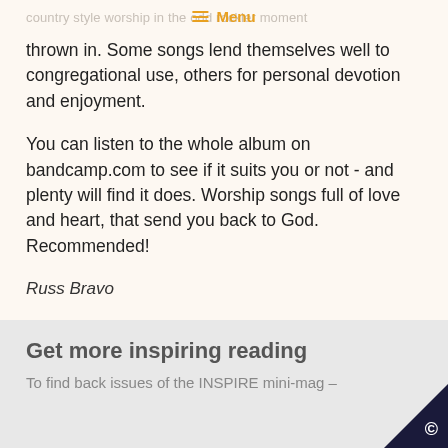country style worship in the odd rockier moment ≡ Menu
thrown in. Some songs lend themselves well to congregational use, others for personal devotion and enjoyment.

You can listen to the whole album on bandcamp.com to see if it suits you or not - and plenty will find it does. Worship songs full of love and heart, that send you back to God. Recommended!
Russ Bravo
[Figure (infographic): Social sharing buttons: Facebook (blue), Twitter (light blue), Email (dark grey), Plus/Add (orange-red)]
Get more inspiring reading
To find back issues of the INSPIRE mini-mag –